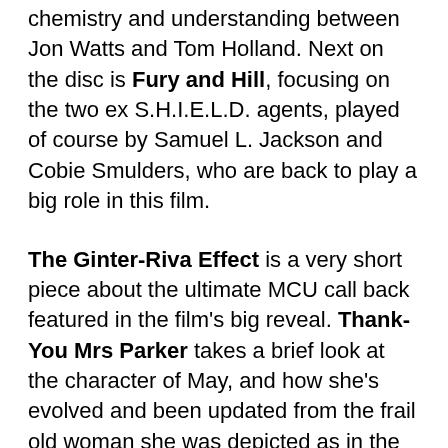chemistry and understanding between Jon Watts and Tom Holland. Next on the disc is Fury and Hill, focusing on the two ex S.H.I.E.L.D. agents, played of course by Samuel L. Jackson and Cobie Smulders, who are back to play a big role in this film.
The Ginter-Riva Effect is a very short piece about the ultimate MCU call back featured in the film's big reveal. Thank-You Mrs Parker takes a brief look at the character of May, and how she's evolved and been updated from the frail old woman she was depicted as in the comics. Stealthy Easter Eggs puts the